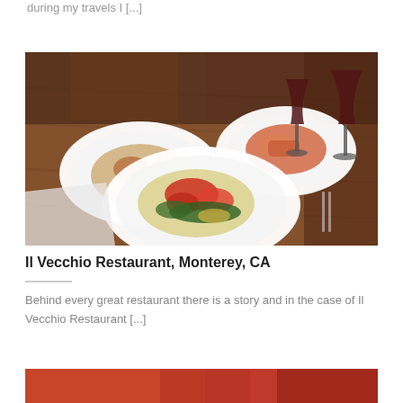during my travels I [...]
[Figure (photo): Restaurant table with three white plates of Italian food and two glasses of red wine on a wooden table. Background shows decorative textiles and dark wood paneling.]
Il Vecchio Restaurant, Monterey, CA
Behind every great restaurant there is a story and in the case of Il Vecchio Restaurant [...]
[Figure (photo): Partial view of a dish or food item, showing warm orange-red tones, cropped at bottom of page.]